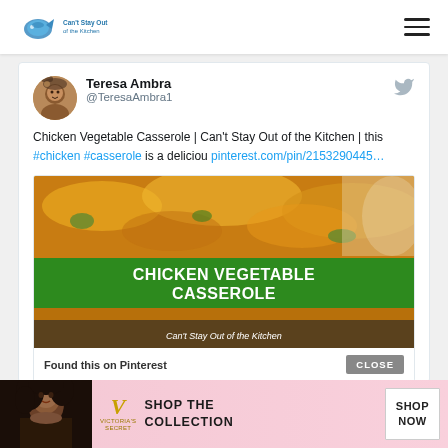Can't Stay Out of the Kitchen logo and hamburger menu
[Figure (screenshot): Tweet by Teresa Ambra (@TeresaAmbra1) about Chicken Vegetable Casserole with Pinterest image embed showing casserole food photo and green banner text]
[Figure (photo): Victoria's Secret advertisement banner with model, VS logo, SHOP THE COLLECTION text, and SHOP NOW button]